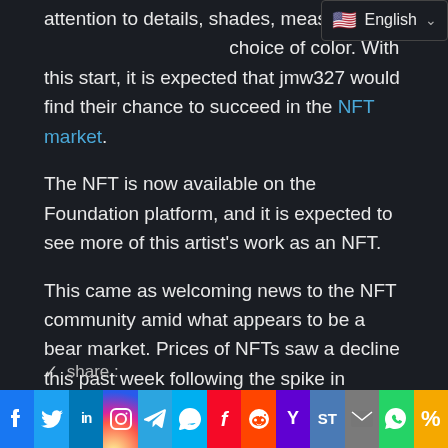attention to details, shades, measurements, choice of color. With this start, it is expected that jmw327 would find their chance to succeed in the NFT market.
The NFT is now available on the Foundation platform, and it is expected to see more of this artist's work as an NFT.
This came as welcoming news to the NFT community amid what appears to be a bear market. Prices of NFTs saw a decline this past week following the spike in interest rates and the LUNA and UST collapse. Regardless, investors are already gearing up for potential profits in the future.
✓ share :
[Figure (infographic): Social media share icons bar: Facebook, Twitter, LinkedIn, Instagram, Telegram, Skype, Flipboard, Reddit, Yahoo, ShareThis, Email, WhatsApp, More]